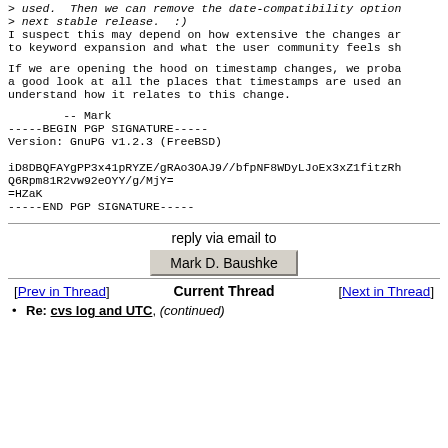> used.  Then we can remove the date-compatibility option
> next stable release.  :)
I suspect this may depend on how extensive the changes are
to keyword expansion and what the user community feels sh
If we are opening the hood on timestamp changes, we proba
a good look at all the places that timestamps are used an
understand how it relates to this change.
-- Mark
-----BEGIN PGP SIGNATURE-----
Version: GnuPG v1.2.3 (FreeBSD)

iD8DBQFAYgPP3x41pRYZE/gRAo3OAJ9//bfpNF8WDyLJoEx3xZ1fitzRh
Q6Rpm81R2vw92eOYY/g/MjY=
=HZaK
-----END PGP SIGNATURE-----
reply via email to
Mark D. Baushke
[Prev in Thread]
Current Thread
[Next in Thread]
Re: cvs log and UTC, (continued)